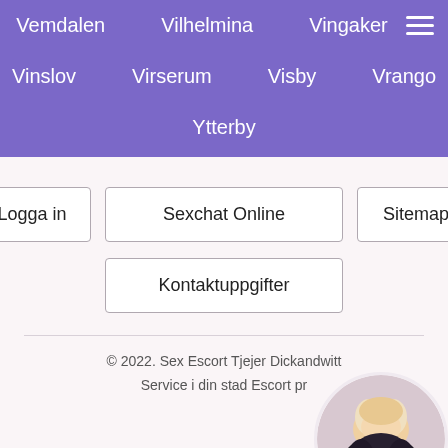Vemdalen  Vilhelmina  Vingaker
Vinslov  Virserum  Visby  Vrango
Ytterby
Logga in
Sexchat Online
Sitemap
Kontaktuppgifter
© 2022. Sex Escort Tjejer Dickandwitt... Service i din stad Escort pr...
[Figure (photo): Circular avatar photo of a blonde woman in dark clothing]